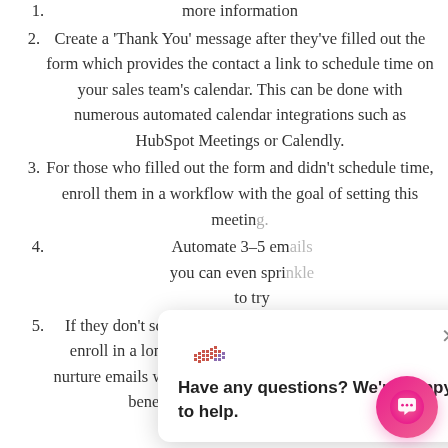Build form on your website for contacts to request more information
Create a 'Thank You' message after they've filled out the form which provides the contact a link to schedule time on your sales team's calendar. This can be done with numerous automated calendar integrations such as HubSpot Meetings or Calendly.
For those who filled out the form and didn't schedule time, enroll them in a workflow with the goal of setting this meeting.
Automate 3-5 emails... you can even spring... to try...
If they don't schedule time, set those contacts to auto-enroll in a longer-form workflow. This will send out nurture emails which will help educate the contact on the benefits of your product or service.